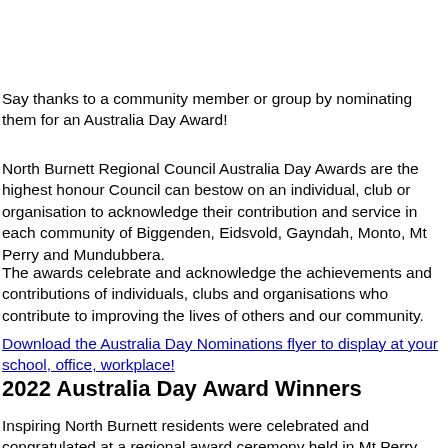Say thanks to a community member or group by nominating them for an Australia Day Award!
North Burnett Regional Council Australia Day Awards are the highest honour Council can bestow on an individual, club or organisation to acknowledge their contribution and service in each community of Biggenden, Eidsvold, Gayndah, Monto, Mt Perry and Mundubbera.
The awards celebrate and acknowledge the achievements and contributions of individuals, clubs and organisations who contribute to improving the lives of others and our community.
Download the Australia Day Nominations flyer to display at your school, office, workplace!
2022 Australia Day Award Winners
Inspiring North Burnett residents were celebrated and congratulated at a regional award ceremony held in Mt Perry Saturday, 5 March 2022